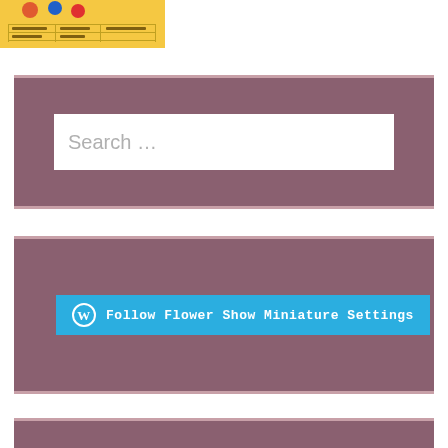[Figure (photo): Partial view of a colorful document or poster with yellow background, figures/characters visible at top, with text and table content below]
[Figure (screenshot): Search widget box with mauve/purple-pink background containing a white search input field with placeholder text 'Search ...']
Search …
[Figure (screenshot): WordPress follow widget box with mauve/purple-pink background containing a blue 'Follow' button with WordPress logo and text 'Follow Flower Show Miniature Settings']
Follow Flower Show Miniature Settings
[Figure (screenshot): Partial mauve/purple-pink widget box visible at bottom of page, cropped]